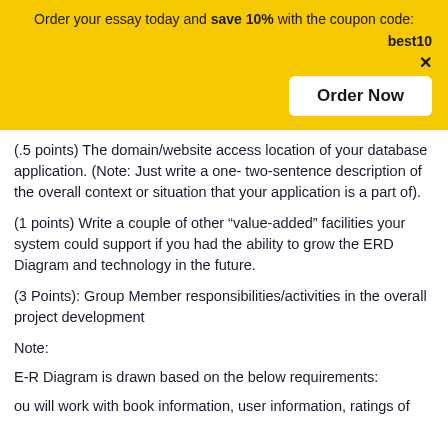Order your essay today and save 10% with the coupon code: best10
(.5 points) The domain/website access location of your database application. (Note: Just write a one- two-sentence description of the overall context or situation that your application is a part of).
(1 points) Write a couple of other “value-added” facilities your system could support if you had the ability to grow the ERD Diagram and technology in the future.
(3 Points): Group Member responsibilities/activities in the overall project development
Note:
E-R Diagram is drawn based on the below requirements:
ou will work with book information, user information, ratings of